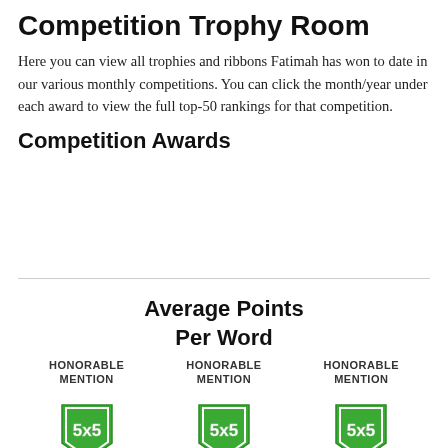Competition Trophy Room
Here you can view all trophies and ribbons Fatimah has won to date in our various monthly competitions. You can click the month/year under each award to view the full top-50 rankings for that competition.
Competition Awards
[Figure (other): Horizontal divider line separating sections]
Average Points Per Word
[Figure (illustration): Three honorable mention medals with green 5x5 shield badge and gold starburst, each labeled HONORABLE MENTION]